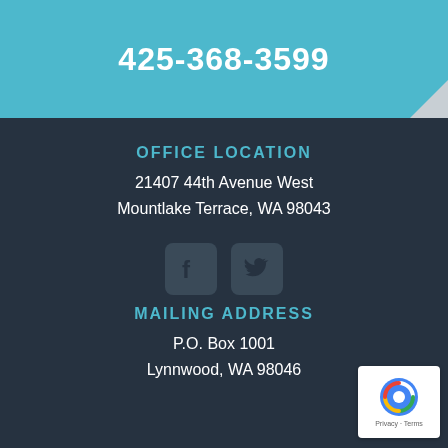425-368-3599
OFFICE LOCATION
21407 44th Avenue West
Mountlake Terrace, WA 98043
[Figure (illustration): Facebook and Twitter social media icons]
MAILING ADDRESS
P.O. Box 1001
Lynnwood, WA 98046
© 2022 by The Mulvihill Law Firm PLLC. All rights